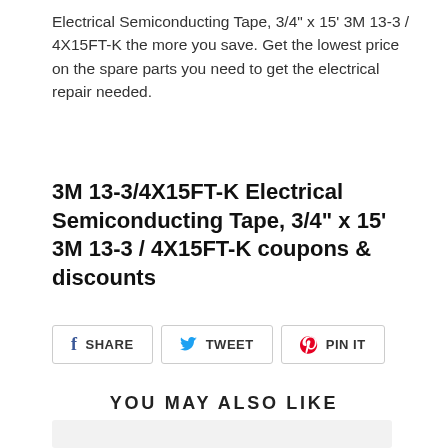Electrical Semiconducting Tape, 3/4" x 15' 3M 13-3 / 4X15FT-K the more you save. Get the lowest price on the spare parts you need to get the electrical repair needed.
3M 13-3/4X15FT-K Electrical Semiconducting Tape, 3/4" x 15' 3M 13-3 / 4X15FT-K coupons & discounts
[Figure (other): Social sharing buttons: SHARE (Facebook), TWEET (Twitter), PIN IT (Pinterest)]
YOU MAY ALSO LIKE
[Figure (other): Product card placeholder area (light gray background)]